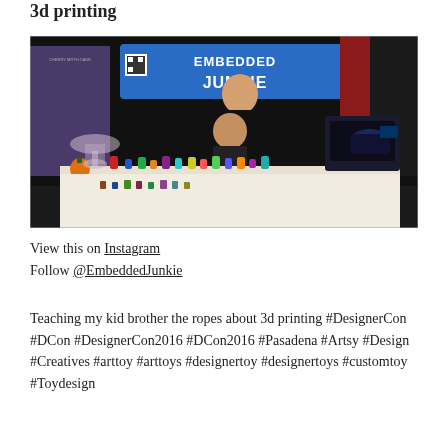3d printing
[Figure (photo): Photo of two people standing at a booth displaying 3D printed toys and figurines. A blue banner reading 'EMBEDDED JUNKIE' hangs in the background. A 3D printer is visible on the right side of the table.]
View this on Instagram
Follow @EmbeddedJunkie
Teaching my kid brother the ropes about 3d printing #DesignerCon #DCon #DesignerCon2016 #DCon2016 #Pasadena #Artsy #Design #Creatives #arttoy #arttoys #designertoy #designertoys #customtoy #Toydesign